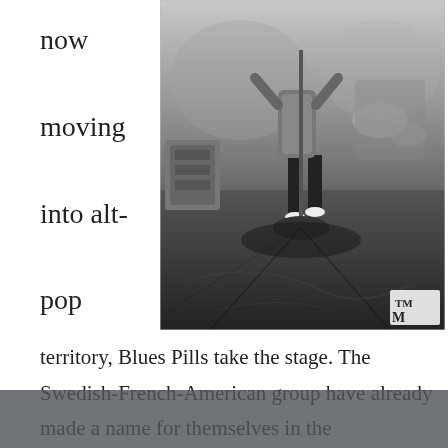now moving into alt-pop
[Figure (photo): Black and white concert photo of a performer on stage with a microphone stand, stage equipment and drums visible in background. A small logo watermark 'TM' is visible in the bottom right corner.]
territory, Blues Pills take the stage. The Swedish-French-American group have already made a name for themselves in the cosmosphere as a soul heavy band steeped in